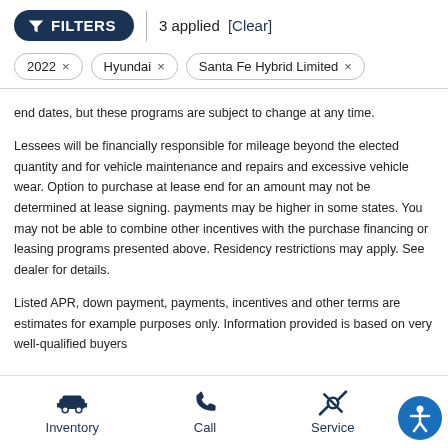FILTERS | 3 applied [Clear]
2022 ×
Hyundai ×
Santa Fe Hybrid Limited ×
end dates, but these programs are subject to change at any time.
Lessees will be financially responsible for mileage beyond the elected quantity and for vehicle maintenance and repairs and excessive vehicle wear. Option to purchase at lease end for an amount may not be determined at lease signing. payments may be higher in some states. You may not be able to combine other incentives with the purchase financing or leasing programs presented above. Residency restrictions may apply. See dealer for details.
Listed APR, down payment, payments, incentives and other terms are estimates for example purposes only. Information provided is based on very well-qualified buyers
Inventory  Call  Service